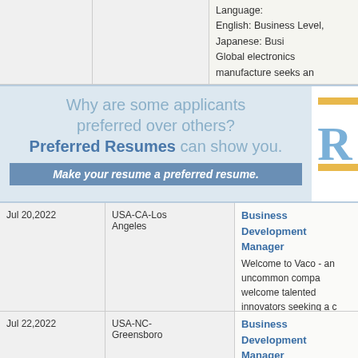Language:
English: Business Level, Japanese: Busi
Global electronics manufacture seeks an
* This position is a
[Figure (infographic): Advertisement banner: 'Why are some applicants preferred over others? Preferred Resumes can show you. Make your resume a preferred resume.' with a blue R logo on the right side.]
| Date | Location | Job Title / Description |
| --- | --- | --- |
| Jul 20,2022 | USA-CA-Los Angeles | Business Development Manager
Welcome to Vaco - an uncommon compa... welcome talented innovators seeking a c... om rings.

Since 2002, we have expanded to more t... owing down anytime soon. We are seekin... |
| Jul 22,2022 | USA-NC-Greensboro | Business Development Manager
Welcome to Vaco - an uncommon compa... |